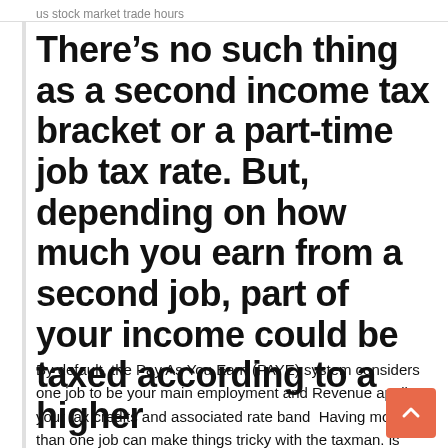us stock market trade hours
There’s no such thing as a second income tax bracket or a part-time job tax rate. But, depending on how much you earn from a second job, part of your income could be taxed according to a higher
By default, the Pay As You Earn (PAYE) system considers one job to be your main employment and Revenue applies your tax credits and associated rate band  Having more than one job can make things tricky with the taxman. is that they didn’t